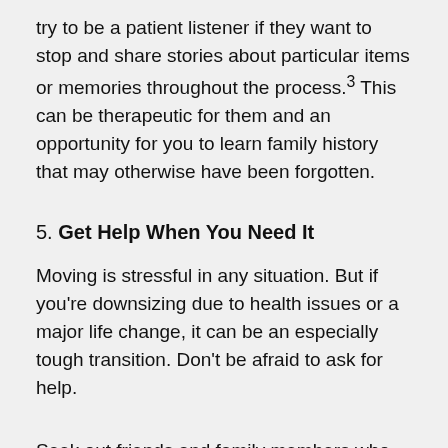try to be a patient listener if they want to stop and share stories about particular items or memories throughout the process.³ This can be therapeutic for them and an opportunity for you to learn family history that may otherwise have been forgotten.
5. Get Help When You Need It
Moving is stressful in any situation. But if you're downsizing due to health issues or a major life change, it can be an especially tough transition. Don't be afraid to ask for help.
Seek out friends and family members who can assist with packing and decluttering. If that's not an option, or if you need additional help, consider hiring a home organizer, full-service moving company, or even a senior move...